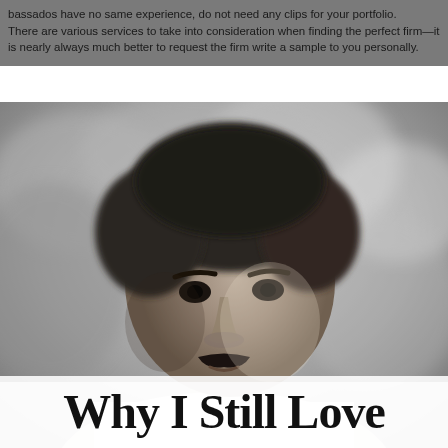There are various services to take into consideration when finding the perfect firm—it is nearly always much better to request the firm write a sample to you personally.
[Figure (photo): Black and white portrait photograph of a Black man with an afro hairstyle and mustache, wearing a white turtleneck, looking slightly to the side, with a blurred leafy background.]
Why I Still Love